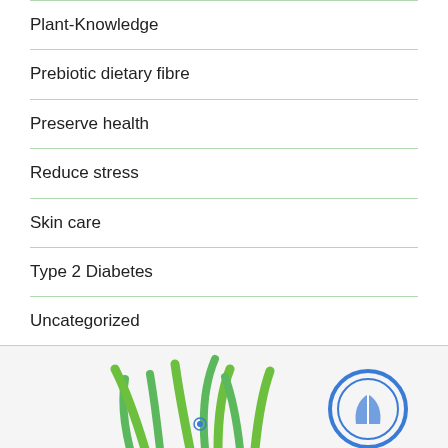Plant-Knowledge
Prebiotic dietary fibre
Preserve health
Reduce stress
Skin care
Type 2 Diabetes
Uncategorized
[Figure (logo): Green plant illustration and blue circular logo at the bottom of the page]